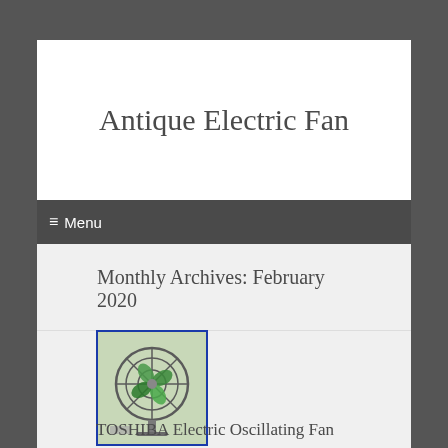Antique Electric Fan
≡ Menu
Monthly Archives: February 2020
[Figure (photo): Thumbnail photo of a green antique electric oscillating fan with a circular wire guard, viewed from front, on a light surface]
TOSHIBA Electric Oscillating Fan